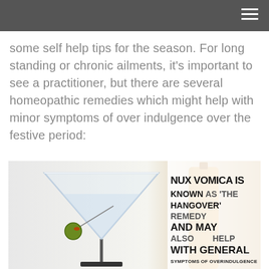☰
some self help tips for the season. For long standing or chronic ailments, it's important to see a practitioner, but there are several homeopathic remedies which might help with minor symptoms of over indulgence over the festive period:
[Figure (photo): A martini glass with a green olive, next to amber bottles, overlaid with bold text: NUX VOMICA IS KNOWN AS 'THE HANGOVER' REMEDY AND MAY ALSO HELP WITH GENERAL SYMPTOMS OF OVERINDULGENCE]